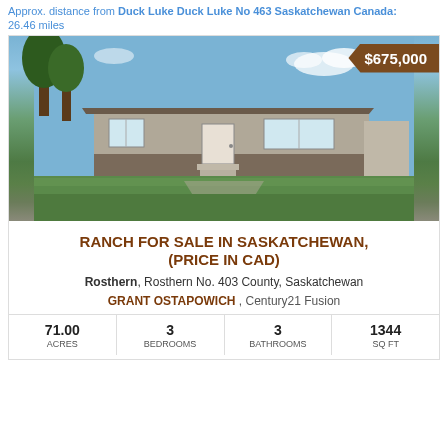Approx. distance from Duck Lake Duck Lake No 463 Saskatchewan Canada: 26.46 miles
[Figure (photo): Exterior photo of a single-storey ranch-style house with large lawn, with a $675,000 price badge in the upper right corner]
RANCH FOR SALE IN SASKATCHEWAN, (PRICE IN CAD)
Rosthern, Rosthern No. 403 County, Saskatchewan
GRANT OSTAPOWICH , Century21 Fusion
| ACRES | BEDROOMS | BATHROOMS | SQ FT |
| --- | --- | --- | --- |
| 71.00 | 3 | 3 | 1344 |